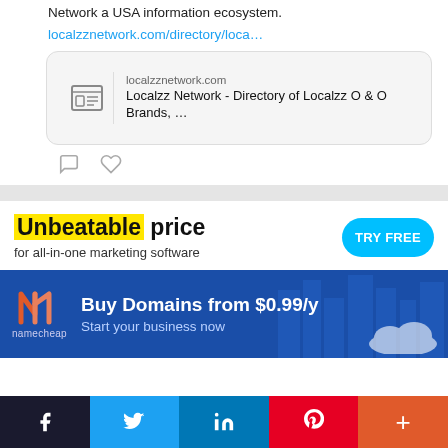Network a USA information ecosystem.
localzznetwork.com/directory/loca…
[Figure (screenshot): Link preview card showing localzznetwork.com - Localzz Network - Directory of Localzz O & O Brands, …]
[Figure (infographic): Marketing software ad: Unbeatable price for all-in-one marketing software with TRY FREE button]
[Figure (infographic): Namecheap banner ad: Buy Domains from $0.99/y - Start your business now]
[Figure (infographic): Social share bar with Facebook, Twitter, LinkedIn, Pinterest, and More buttons]